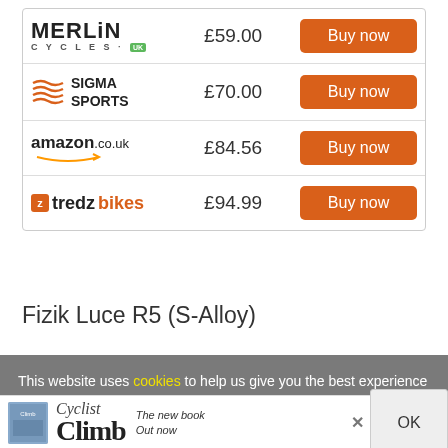| Retailer | Price | Action |
| --- | --- | --- |
| Merlin Cycles | £59.00 | Buy now |
| Sigma Sports | £70.00 | Buy now |
| amazon.co.uk | £84.56 | Buy now |
| tredz bikes | £94.99 | Buy now |
Fizik Luce R5 (S-Alloy)
This website uses cookies to help us give you the best experience when you visit our website. By continuing to use this website, you consent to our use of these cookies.
[Figure (other): Advertisement banner for 'Cyclist Climb' book showing book cover image, title text 'Cyclist Climb', and tagline 'The new book Out now', with a close button (×) and OK button]